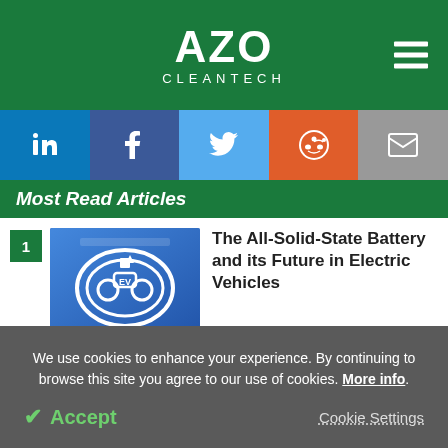[Figure (logo): AZO Cleantech website logo with hamburger menu icon on green background]
[Figure (infographic): Social sharing bar with LinkedIn, Facebook, Twitter, Reddit, and Email buttons]
Most Read Articles
[Figure (photo): Photo of EV charging lane road marking, blue asphalt with white EV symbol]
The All-Solid-State Battery and its Future in Electric Vehicles
Is Green Hydrogen the Future of Energy Storage?
We use cookies to enhance your experience. By continuing to browse this site you agree to our use of cookies. More info.